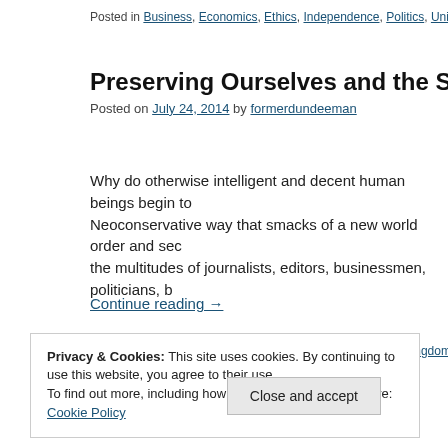Posted in Business, Economics, Ethics, Independence, Politics, United Kingo...
Preserving Ourselves and the Status Quo
Posted on July 24, 2014 by formerdundeeman
Why do otherwise intelligent and decent human beings begin to... Neoconservative way that smacks of a new world order and sec... the multitudes of journalists, editors, businessmen, politicians, b...
Continue reading →
Posted in Business, Ethics, Independence, Politics, United Kingdom | Leave a...
Privacy & Cookies: This site uses cookies. By continuing to use this website, you agree to their use.
To find out more, including how to control cookies, see here: Cookie Policy